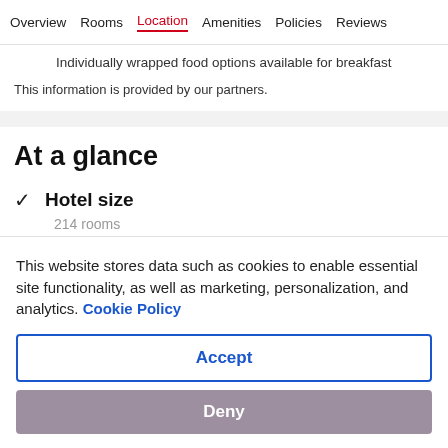Overview  Rooms  Location  Amenities  Policies  Reviews
Individually wrapped food options available for breakfast
This information is provided by our partners.
At a glance
✓  Hotel size
214 rooms
This website stores data such as cookies to enable essential site functionality, as well as marketing, personalization, and analytics. Cookie Policy
Accept
Deny